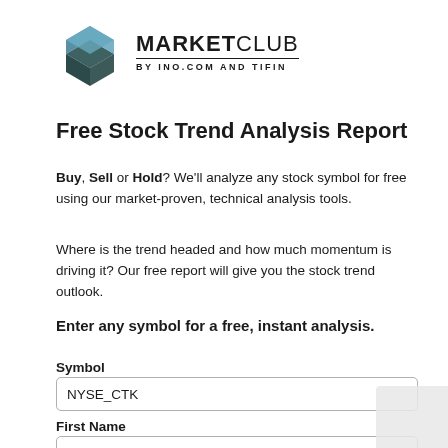[Figure (logo): MarketClub logo: a stylized 3D cube/box icon in dark teal and steel blue, with text 'MARKETCLUB' in bold and a subtitle 'BY INO.COM AND TIFIN']
Free Stock Trend Analysis Report
Buy, Sell or Hold? We'll analyze any stock symbol for free using our market-proven, technical analysis tools.
Where is the trend headed and how much momentum is driving it? Our free report will give you the stock trend outlook.
Enter any symbol for a free, instant analysis.
Symbol
NYSE_CTK
First Name